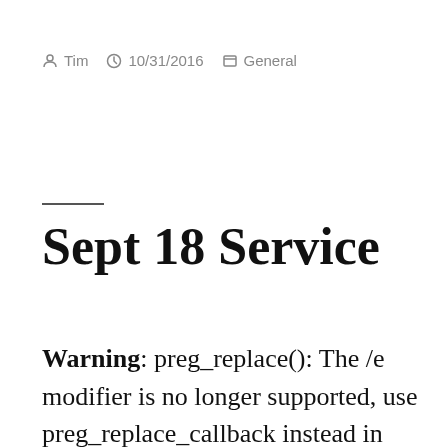Tim  10/31/2016  General
Sept 18 Service
Warning: preg_replace(): The /e modifier is no longer supported, use preg_replace_callback instead in